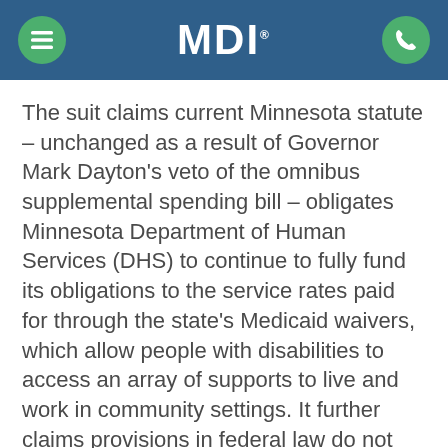MDI
The suit claims current Minnesota statute – unchanged as a result of Governor Mark Dayton's veto of the omnibus supplemental spending bill – obligates Minnesota Department of Human Services (DHS) to continue to fully fund its obligations to the service rates paid for through the state's Medicaid waivers, which allow people with disabilities to access an array of supports to live and work in community settings. It further claims provisions in federal law do not allow the Centers for Medicaid and Medicare Services (CMS) to